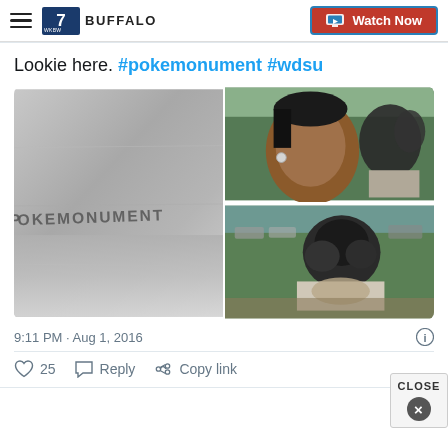7 Buffalo — Watch Now
Lookie here. #pokemonument #wdsu
[Figure (photo): Four-panel image: large left panel showing concrete wall with 'POKEMONUMENT' scratched/written on it; top-right panel showing a selfie of a woman with bronze statue visible behind her; bottom-right panel showing a close-up of a bronze sculpture in a park setting.]
9:11 PM · Aug 1, 2016
♡ 25   Reply   Copy link